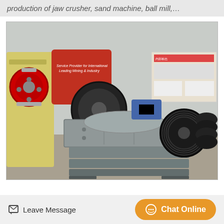production of jaw crusher, sand machine, ball mill,…
[Figure (photo): Industrial machinery photo showing a jaw crusher or double roller crusher machine in a factory/warehouse setting. The machine is metallic grey with a large pulley wheel on the right side. In the background there is a red piece of heavy equipment, a large black flywheel, and a sign reading 'Service Provider for International Leading Mining & Industry'. The factory floor is concrete.]
Leave Message
Chat Online